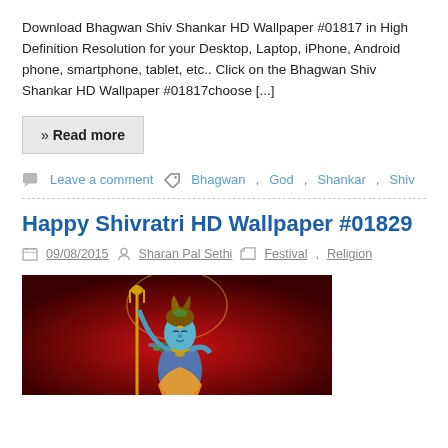Download Bhagwan Shiv Shankar HD Wallpaper #01817 in High Definition Resolution for your Desktop, Laptop, iPhone, Android phone, smartphone, tablet, etc.. Click on the Bhagwan Shiv Shankar HD Wallpaper #01817choose [...]
» Read more
Leave a comment   Bhagwan, God, Shankar, Shiv
Happy Shivratri HD Wallpaper #01829
09/08/2015  Sharan Pal Sethi  Festival, Religion
[Figure (illustration): Illustrated image of Lord Shiva (blue-skinned deity) holding a trident (trishul) against a dark red gradient background. Shiva is depicted with matted hair, third eye, ornaments, and traditional clothing.]